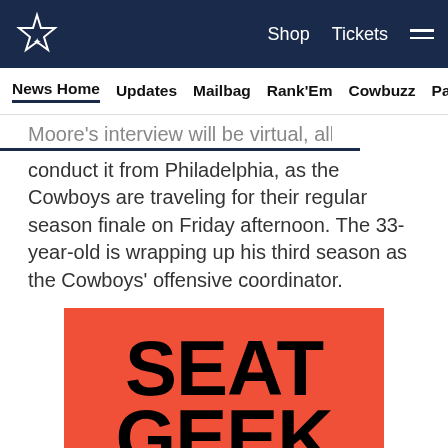Dallas Cowboys — Shop | Tickets
News Home  Updates  Mailbag  Rank'Em  Cowbuzz  Past/Pres
Moore's interview will be virtual, allowing him to conduct it from Philadelphia, as the Cowboys are traveling for their regular season finale on Friday afternoon. The 33-year-old is wrapping up his third season as the Cowboys' offensive coordinator.
[Figure (logo): SeatGeek advertisement — orange/red background with large black bold text reading SEAT GEEK]
[Figure (other): Social sharing icons: Facebook, Twitter, Email, Link]